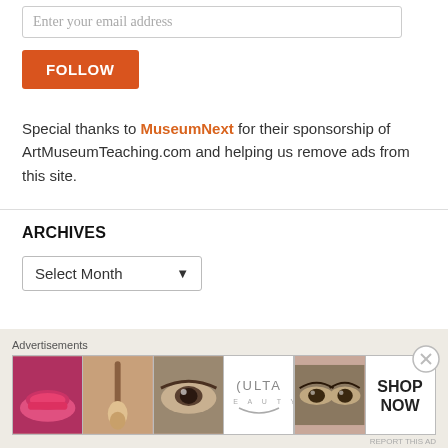Enter your email address
FOLLOW
Special thanks to MuseumNext for their sponsorship of ArtMuseumTeaching.com and helping us remove ads from this site.
ARCHIVES
Select Month
[Figure (screenshot): Advertisement banner for ULTA beauty showing cosmetics images: lips with lipstick, makeup brush, eye with eyeshadow, ULTA logo, and eyes close-up, with SHOP NOW button]
Advertisements